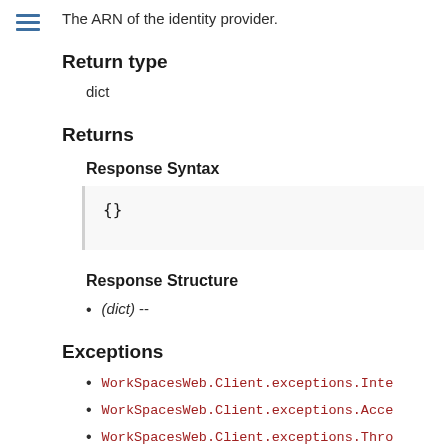The ARN of the identity provider.
Return type
dict
Returns
Response Syntax
Response Structure
(dict) --
Exceptions
WorkSpacesWeb.Client.exceptions.Inte
WorkSpacesWeb.Client.exceptions.Acce
WorkSpacesWeb.Client.exceptions.Thro